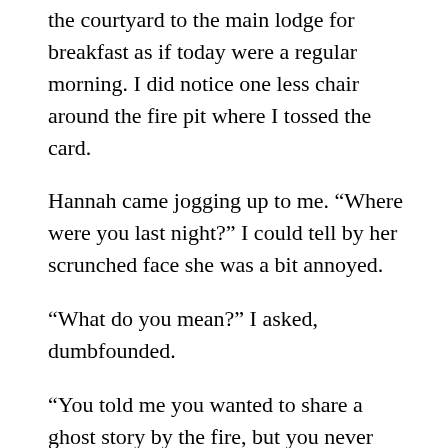the courtyard to the main lodge for breakfast as if today were a regular morning. I did notice one less chair around the fire pit where I tossed the card.
Hannah came jogging up to me. “Where were you last night?” I could tell by her scrunched face she was a bit annoyed.
“What do you mean?” I asked, dumbfounded.
“You told me you wanted to share a ghost story by the fire, but you never came.”
“Hold on. Do you not remember the giant scorpions?” Hannah shook her no. There was nothing on her facial expression to indicate she was messing with me. “Do